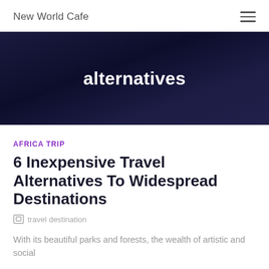New World Cafe
alternatives
AFRICA TRIP
6 Inexpensive Travel Alternatives To Widespread Destinations
[Figure (photo): Broken image placeholder with alt text 'travel destination']
With its beautiful parks and forests, the wealth of artistic and social